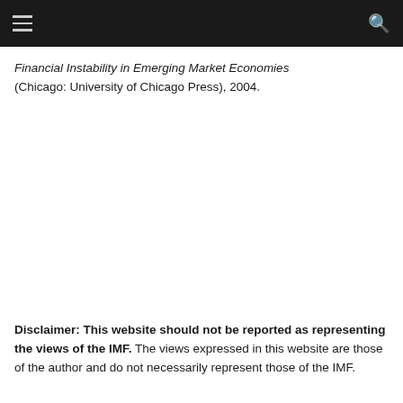≡  🔍
Financial Instability in Emerging Market Economies (Chicago: University of Chicago Press), 2004.
Disclaimer: This website should not be reported as representing the views of the IMF. The views expressed in this website are those of the author and do not necessarily represent those of the IMF.